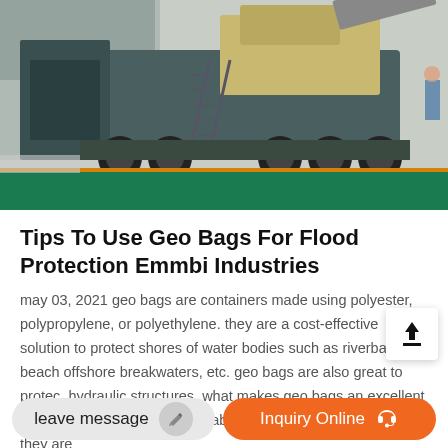[Figure (photo): Industrial machinery / mobile crushing equipment on a green and orange-striped factory floor]
Tips To Use Geo Bags For Flood Protection Emmbi Industries
may 03, 2021 geo bags are containers made using polyester, polypropylene, or polyethylene. they are a cost-effective solution to protect shores of water bodies such as riverbanks, beaches, offshore breakwaters, etc. geo bags are also great to protect hydraulic structures. what makes geo bags an excellent option is their longevity, affordability, durability, and the fact that they are